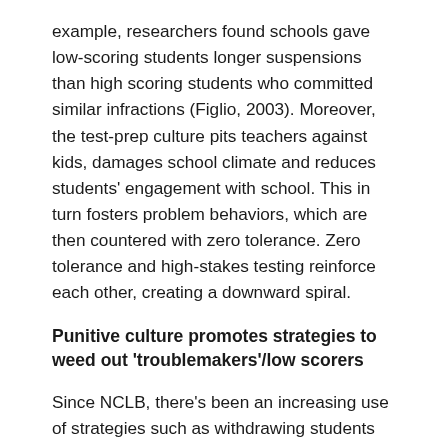example, researchers found schools gave low-scoring students longer suspensions than high scoring students who committed similar infractions (Figlio, 2003). Moreover, the test-prep culture pits teachers against kids, damages school climate and reduces students' engagement with school. This in turn fosters problem behaviors, which are then countered with zero tolerance. Zero tolerance and high-stakes testing reinforce each other, creating a downward spiral.
Punitive culture promotes strategies to weed out 'troublemakers'/low scorers
Since NCLB, there's been an increasing use of strategies such as withdrawing students from school rolls or sending them to alternative schools or GED programs. Out of school suspensions and expulsions are also on the rise nationally, with